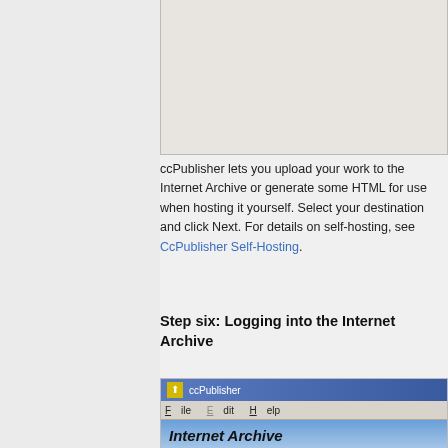[Figure (screenshot): Top portion of a ccPublisher application screenshot showing a blank/empty panel area]
ccPublisher lets you upload your work to the Internet Archive or generate some HTML for use when hosting it yourself. Select your destination and click Next. For details on self-hosting, see CcPublisher Self-Hosting.
Step six: Logging into the Internet Archive
[Figure (screenshot): ccPublisher application window showing title bar with icon and 'ccPublisher' text, menu bar with File, Edit, Help, and a blue content area with 'Internet Archive' heading text]